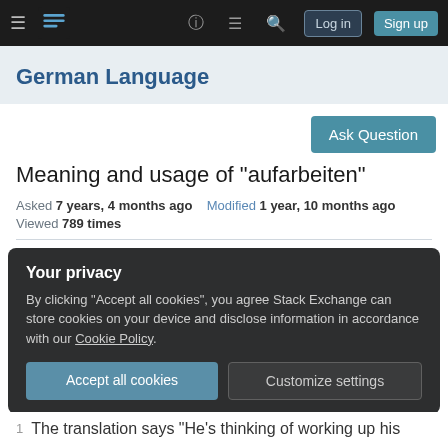German Language – Stack Exchange navigation bar with Log in and Sign up buttons
German Language
Ask Question
Meaning and usage of "aufarbeiten"
Asked 7 years, 4 months ago   Modified 1 year, 10 months ago
Viewed 789 times
Your privacy
By clicking "Accept all cookies", you agree Stack Exchange can store cookies on your device and disclose information in accordance with our Cookie Policy.
Accept all cookies   Customize settings
The translation says "He's thinking of working up his